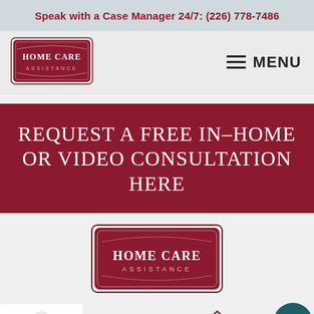Speak with a Case Manager 24/7: (226) 778-7486
[Figure (logo): Home Care Assistance logo - maroon shield/oval badge shape with HOME CARE ASSISTANCE text]
MENU
REQUEST A FREE IN-HOME OR VIDEO CONSULTATION HERE
[Figure (logo): Home Care Assistance logo - larger maroon badge with HOME CARE ASSISTANCE text]
How Can We Help You?
REQUEST A FREE IN-HOME CONSULTATION